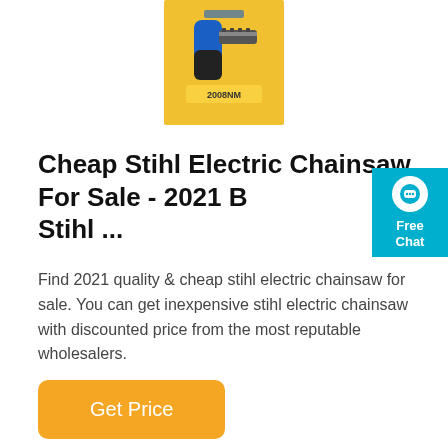[Figure (photo): Product photo of a chainsaw/pruning tool in blue and black, packaged on a yellow retail card with label '2008NM']
Cheap Stihl Electric Chainsaw For Sale - 2021 Best Stihl ...
Find 2021 quality & cheap stihl electric chainsaw for sale. You can get inexpensive stihl electric chainsaw with discounted price from the most reputable wholesalers.
[Figure (other): Free Chat widget button in teal/cyan color with chat bubble icon]